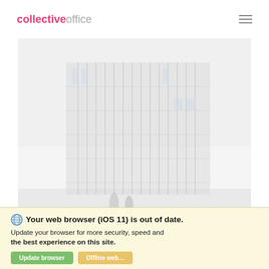collective office
[Figure (photo): Faded/desaturated photo of a modern multi-story building with glass curtain wall facade and vertical grid elements. People visible at ground level.]
ARCHITECTURE
Architecture is about the practice of designing and construction...
Your web browser (iOS 11) is out of date. Update your browser for more security, speed and the best experience on this site.